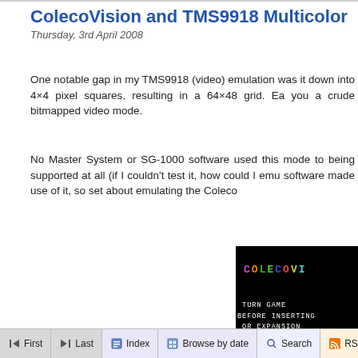ColecoVision and TMS9918 Multicolor
Thursday, 3rd April 2008
One notable gap in my TMS9918 (video) emulation was it down into 4×4 pixel squares, resulting in a 64×48 grid. Ea you a crude bitmapped video mode.
No Master System or SG-1000 software used this mode to being supported at all (if I couldn't test it, how could I emu software made use of it, so set about emulating the Coleco
[Figure (screenshot): ColecoVision boot screen on black background showing 'COLECOVI' in multicolor pixel letters and instructions text: TURN GAME, BEFORE INSERTING, OR EXPANSION, and copyright 1982 COLE...]
First  Last  Index  Browse by date  Search  RSS